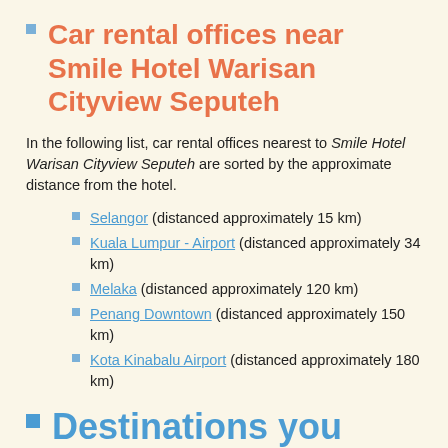Car rental offices near Smile Hotel Warisan Cityview Seputeh
In the following list, car rental offices nearest to Smile Hotel Warisan Cityview Seputeh are sorted by the approximate distance from the hotel.
Selangor (distanced approximately 15 km)
Kuala Lumpur - Airport (distanced approximately 34 km)
Melaka (distanced approximately 120 km)
Penang Downtown (distanced approximately 150 km)
Kota Kinabalu Airport (distanced approximately 180 km)
Destinations you might want to visit when staying at Smile Hotel Warisan Cityview